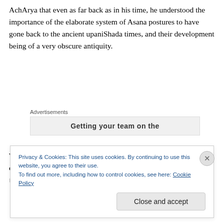AchArya that even as far back as in his time, he understood the importance of the elaborate system of Asana postures to have gone back to the ancient upaniShada times, and their development being of a very obscure antiquity.
[Figure (other): Advertisements box with partial bold text 'Getting your team on the']
We return again to the genius bhoja rAjan, who, still a few centuries before the haThayoga classics that are available
Privacy & Cookies: This site uses cookies. By continuing to use this website, you agree to their use. To find out more, including how to control cookies, see here: Cookie Policy
Close and accept